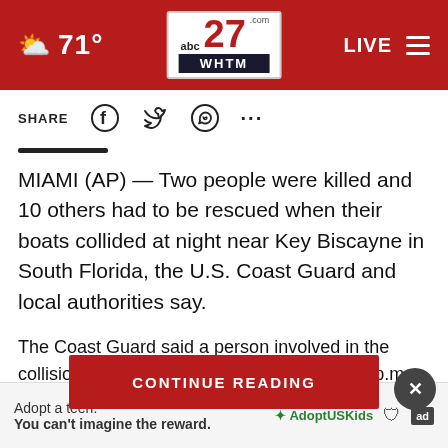abc 27 WHTM — 71° — LIVE
SHARE
MIAMI (AP) — Two people were killed and 10 others had to be rescued when their boats collided at night near Key Biscayne in South Florida, the U.S. Coast Guard and local authorities say.
The Coast Guard said a person involved in the collision notified the ag... 10:30 p.m. Friday night
CONTINUE READING
Adopt a teen. You can't imagine the reward. AdoptUSKids